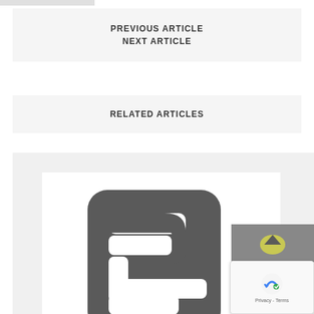PREVIOUS ARTICLE
NEXT ARTICLE
RELATED ARTICLES
[Figure (logo): A stylized logo featuring an abstract 'F' or document icon shape in dark gray on white background, partially cut off at the right edge with a gray overlay panel showing a scroll-up button and reCAPTCHA badge]